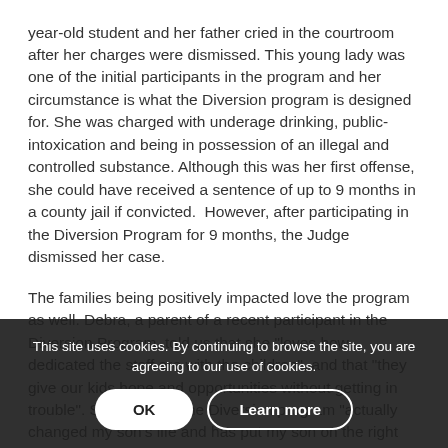year-old student and her father cried in the courtroom after her charges were dismissed. This young lady was one of the initial participants in the program and her circumstance is what the Diversion program is designed for. She was charged with underage drinking, public-intoxication and being in possession of an illegal and controlled substance. Although this was her first offense, she could have received a sentence of up to 9 months in a county jail if convicted.  However, after participating in the Diversion Program for 9 months, the Judge dismissed her case.
The families being positively impacted love the program as well. Debra, a parent of a recent participant in the Diversion Program, told us that she "loves how dedicated the staff are with the children", and that "they give our kids hope and opportunities without getting in trouble". She believes the Diversion program "actually changed my son's life and has put my son on the right path".
This site uses cookies. By continuing to browse the site, you are agreeing to our use of cookies.